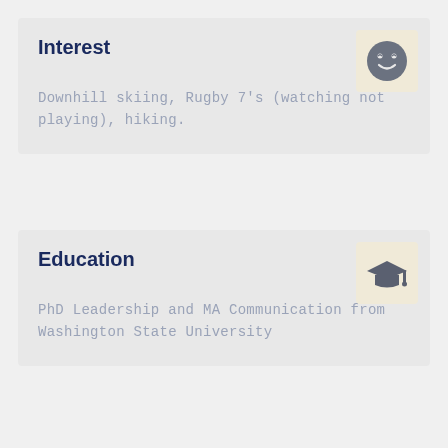Interest
Downhill skiing, Rugby 7's (watching not playing), hiking.
[Figure (illustration): Smiling face emoji icon in gray circle on beige/cream background box]
Education
PhD Leadership and MA Communication from Washington State University
[Figure (illustration): Graduation cap icon in dark gray on beige/cream background box]